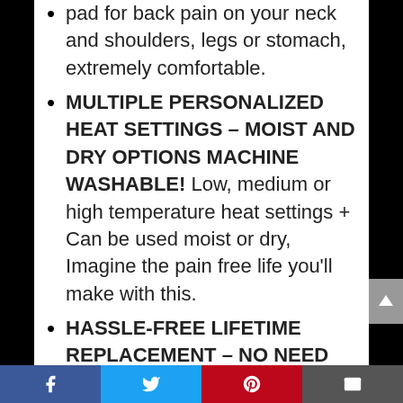pad for back pain on your neck and shoulders, legs or stomach, extremely comfortable.
MULTIPLE PERSONALIZED HEAT SETTINGS – MOIST AND DRY OPTIONS MACHINE WASHABLE! Low, medium or high temperature heat settings + Can be used moist or dry, Imagine the pain free life you'll make with this.
HASSLE-FREE LIFETIME REPLACEMENT – NO NEED TO RETURN! We take pride in our perfect customer service record on Amazon, and we promise to treat
Facebook Twitter Pinterest Email